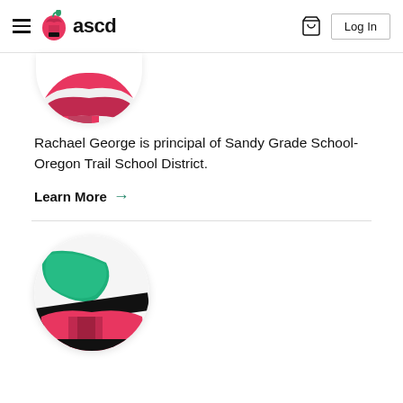ASCD navigation bar with logo, cart, and Log In button
[Figure (illustration): Partial circular avatar with abstract geometric shapes in pink/crimson and black — cropped at top]
Rachael George is principal of Sandy Grade School-Oregon Trail School District.
Learn More →
[Figure (illustration): Full circular avatar with abstract geometric shapes in teal/green, black, and pink]